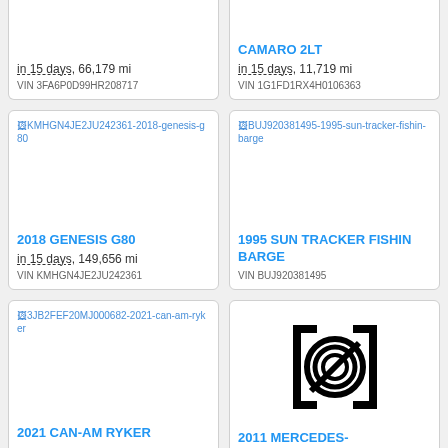in 15 days, 66,179 mi
VIN 3FA6P0D99HR208717
CAMARO 2LT
in 15 days, 11,719 mi
VIN 1G1FD1RX4H0106363
[Figure (screenshot): Broken image placeholder for 2018 Genesis G80 listing, VIN KMHGN4JE2JU242361]
[Figure (screenshot): Broken image placeholder for 1995 Sun Tracker Fishin Barge listing, VIN BUJ920381495]
2018 GENESIS G80
in 15 days, 149,656 mi
VIN KMHGN4JE2JU242361
1995 SUN TRACKER FISHIN BARGE
VIN BUJ920381495
[Figure (screenshot): Broken image placeholder for 2021 Can-Am Ryker listing, VIN 3JB2FEF20MJ000682]
[Figure (photo): No-image placeholder icon (circle with slash) for 2011 Mercedes listing]
2021 CAN-AM RYKER
2011 MERCEDES-